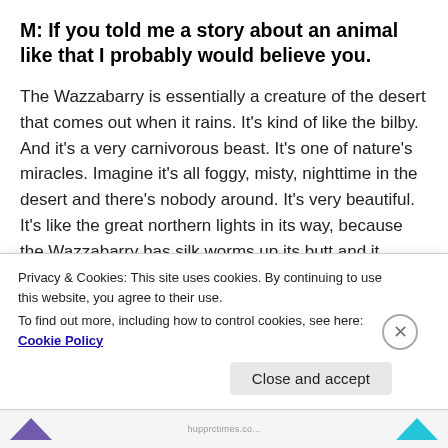M: If you told me a story about an animal like that I probably would believe you.
The Wazzabarry is essentially a creature of the desert that comes out when it rains. It's kind of like the bilby. And it's a very carnivorous beast. It's one of nature's miracles. Imagine it's all foggy, misty, nighttime in the desert and there's nobody around. It's very beautiful. It's like the great northern lights in its way, because the Wazzabarry has silk worms up its butt and it shines this bright light, it's a mating call, and there's a bunch of them that comes out every couple of years, and it's
Privacy & Cookies: This site uses cookies. By continuing to use this website, you agree to their use.
To find out more, including how to control cookies, see here: Cookie Policy
Close and accept